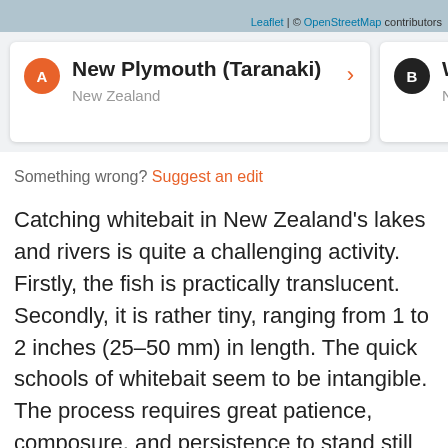[Figure (screenshot): Map bar with Leaflet and OpenStreetMap attribution]
A  New Plymouth (Taranaki)  >  New Zealand
B  W  Ne
Something wrong? Suggest an edit
Catching whitebait in New Zealand's lakes and rivers is quite a challenging activity. Firstly, the fish is practically translucent. Secondly, it is rather tiny, ranging from 1 to 2 inches (25–50 mm) in length. The quick schools of whitebait seem to be intangible. The process requires great patience, composure, and persistence to stand still with the nets until you catch the precious treasure. You will spend much time and trial your endurance, yet eventually, you will get the